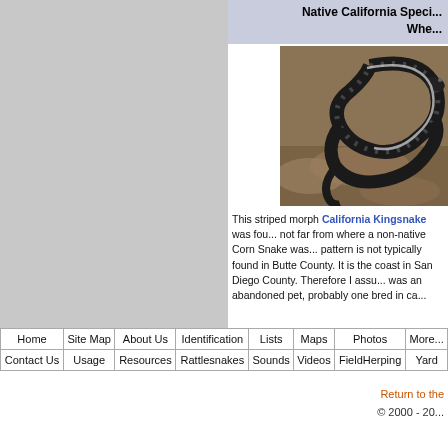Native California Speci... Whe...
[Figure (photo): A striped morph California Kingsnake coiled on rocky ground]
This striped morph California Kingsnake was fou... not far from where a non-native Corn Snake was... pattern is not typically found in Butte County. It is the coast in San Diego County. Therefore I assu... was an abandoned pet, probably one bred in ca...
| Home | Site Map | About Us | Identification | Lists | Maps | Photos | More |
| --- | --- | --- | --- | --- | --- | --- | --- |
| Contact Us | Usage | Resources | Rattlesnakes | Sounds | Videos | FieldHerping | Yard |
Return to the
© 2000 - 20...